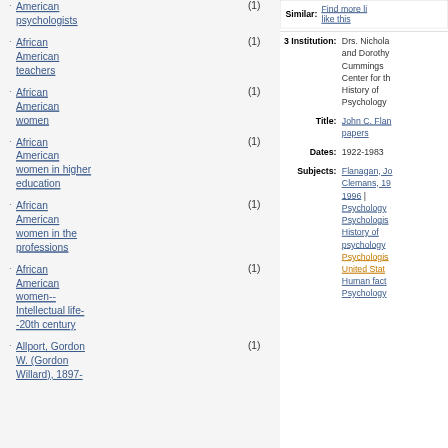African American psychologists (1)
African American teachers (1)
African American women (1)
African American women in higher education (1)
African American women in the professions (1)
African American women--Intellectual life--20th century (1)
Allport, Gordon W. (Gordon Willard), 1897- (1)
Similar: Find more like this
| Field | Value |
| --- | --- |
| 3 Institution: | Drs. Nicholas and Dorothy Cummings Center for the History of Psychology |
| Title: | John C. Flanagan papers |
| Dates: | 1922-1983 |
| Subjects: | Flanagan, Jo... Clemans, 19... 1996 | Psychology Psychologis... History of psychology... Psychologis... United Stat... Human fact... Psychology... |